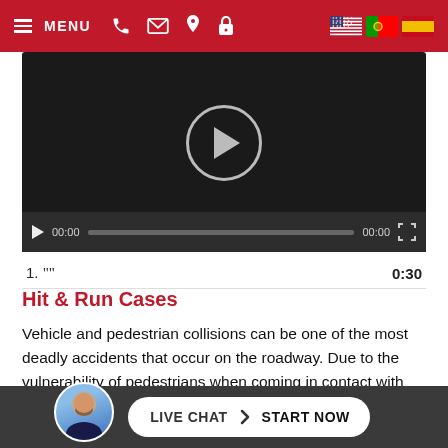[Figure (screenshot): Red navigation bar with hamburger MENU, phone, email, map pin icons, and US/Portugal/Spain flag icons]
[Figure (screenshot): Video player with dark background showing a large circular play button in center, and a controls bar at bottom with play button, time 00:00, progress bar, end time 00:00, and fullscreen icon]
1. "" 0:30
Hit & Run Cases
Vehicle and pedestrian collisions can be one of the most deadly accidents that occur on the roadway. Due to the vulnerability of pedestrians when coming in contact with cars it is important for motorists to obey designated areas for pedestrians such as cross-walks and always obey posted speed limit signs to make braking for
[Figure (screenshot): Live chat bar with avatar photo of bearded man in suit, and a white rounded button reading LIVE CHAT > START NOW]